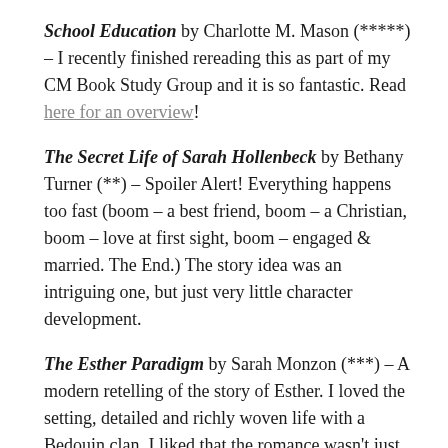School Education by Charlotte M. Mason (*****) – I recently finished rereading this as part of my CM Book Study Group and it is so fantastic. Read here for an overview!
The Secret Life of Sarah Hollenbeck by Bethany Turner (**) – Spoiler Alert! Everything happens too fast (boom – a best friend, boom – a Christian, boom – love at first sight, boom – engaged & married. The End.) The story idea was an intriguing one, but just very little character development.
The Esther Paradigm by Sarah Monzon (***) – A modern retelling of the story of Esther. I loved the setting, detailed and richly woven life with a Bedouin clan. I liked that the romance wasn't just physical-attraction driven, character was important.